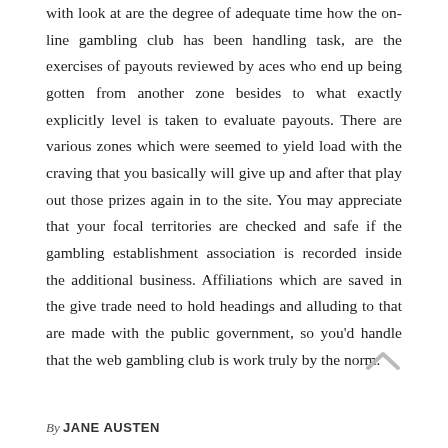with look at are the degree of adequate time how the online gambling club has been handling task, are the exercises of payouts reviewed by aces who end up being gotten from another zone besides to what exactly explicitly level is taken to evaluate payouts. There are various zones which were seemed to yield load with the craving that you basically will give up and after that play out those prizes again in to the site. You may appreciate that your focal territories are checked and safe if the gambling establishment association is recorded inside the additional business. Affiliations which are saved in the give trade need to hold headings and alluding to that are made with the public government, so you'd handle that the web gambling club is work truly by the norm.
By JANE AUSTEN